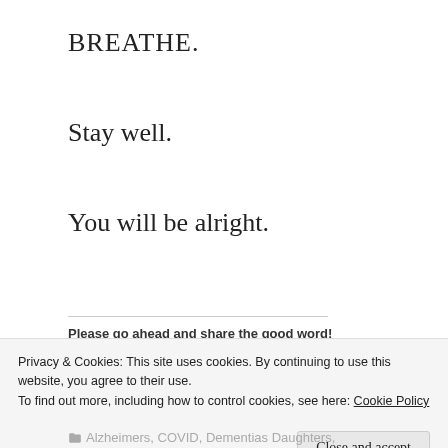BREATHE.
Stay well.
You will be alright.
Please go ahead and share the good word!
[Figure (screenshot): Social share buttons for Twitter, Facebook, LinkedIn, WhatsApp, and Email]
Privacy & Cookies: This site uses cookies. By continuing to use this website, you agree to their use.
To find out more, including how to control cookies, see here: Cookie Policy
Close and accept
Alzheimers, COVID, Dementias Daughters,